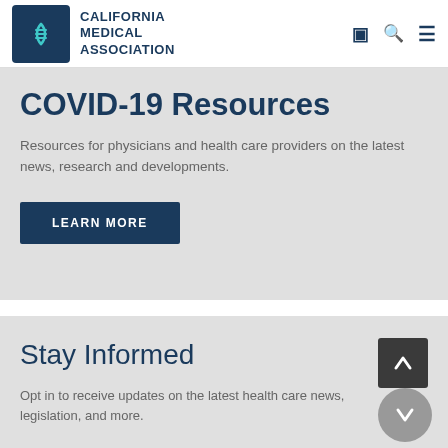CALIFORNIA MEDICAL ASSOCIATION
COVID-19 Resources
Resources for physicians and health care providers on the latest news, research and developments.
LEARN MORE
Stay Informed
Opt in to receive updates on the latest health care news, legislation, and more.
SUBSCRIBE